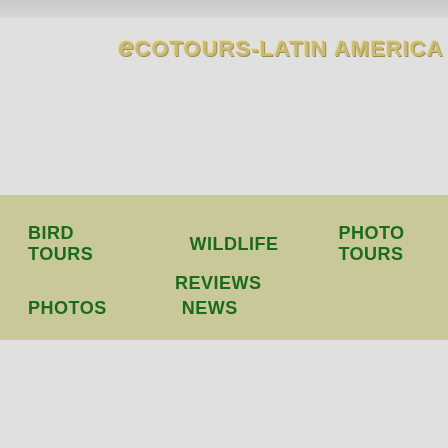eCOTOURS-LATIN AMERICA & WORLDWIDE
BIRD TOURS
WILDLIFE
PHOTO TOURS
REVIEWS
PHOTOS
NEWS